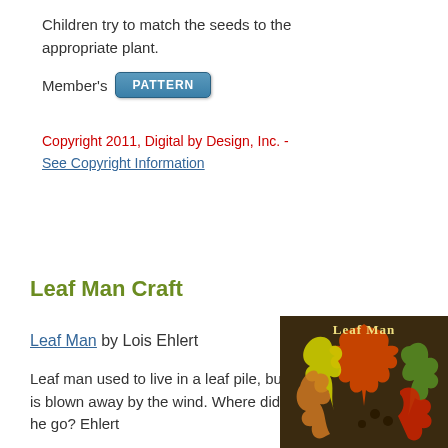Children try to match the seeds to the appropriate plant.
Member's PATTERN
Copyright 2011, Digital by Design, Inc. - See Copyright Information
Leaf Man Craft
Leaf Man by Lois Ehlert
Leaf man used to live in a leaf pile, but is blown away by the wind. Where did he go? Ehlert
[Figure (photo): Book cover of 'Leaf Man' by Lois Ehlert showing colorful autumn leaves arranged in a decorative pattern on a dark background with the title 'Leaf Man' in text.]